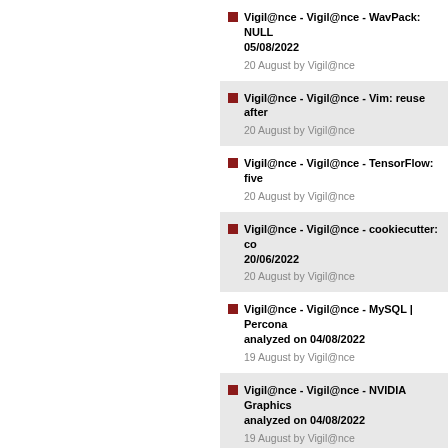Vigil@nce - Vigil@nce - WavPack: NULL pointer dereference - analyzed on 05/08/2022
20 August by Vigil@nce
Vigil@nce - Vigil@nce - Vim: reuse after free - ...
20 August by Vigil@nce
Vigil@nce - Vigil@nce - TensorFlow: five vulnerabilities - ...
20 August by Vigil@nce
Vigil@nce - Vigil@nce - cookiecutter: code execution via Git - analyzed on 20/06/2022
20 August by Vigil@nce
Vigil@nce - Vigil@nce - MySQL | Percona Server: multiple vulnerabilities - analyzed on 04/08/2022
19 August by Vigil@nce
Vigil@nce - Vigil@nce - NVIDIA Graphics Driver: privilege escalation - analyzed on 04/08/2022
19 August by Vigil@nce
Vigil@nce - Vigil@nce - openSUSE Leap: ...